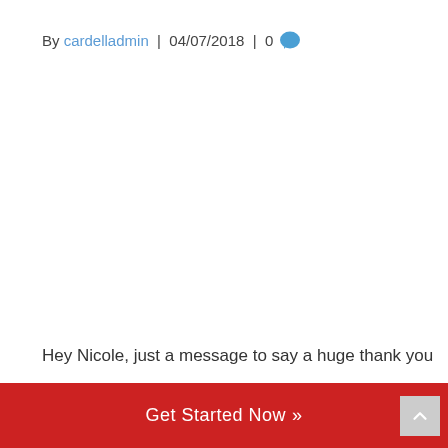By cardelladmin | 04/07/2018 | 0
Hey Nicole, just a message to say a huge thank you
Get Started Now »